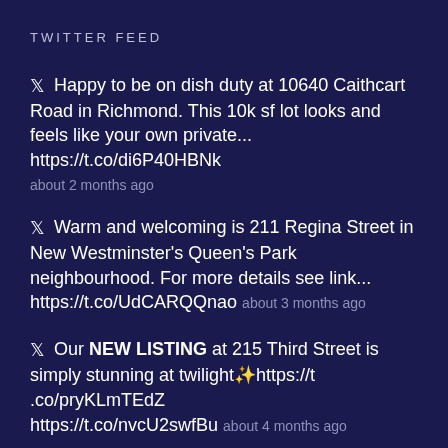TWITTER FEED
Happy to be on dish duty at 10640 Caithcart Road in Richmond. This 10k sf lot looks and feels like your own private... https://t.co/di6P40HBNk about 2 months ago
Warm and welcoming is 211 Regina Street in New Westminster's Queen's Park neighbourhood. For more details see link... https://t.co/UdCARQQnao about 3 months ago
Our NEW LISTING at 215 Third Street is simply stunning at twilight✨https://t .co/pryKLmTEdZ https://t.co/nvcU2swfBu about 4 months ago